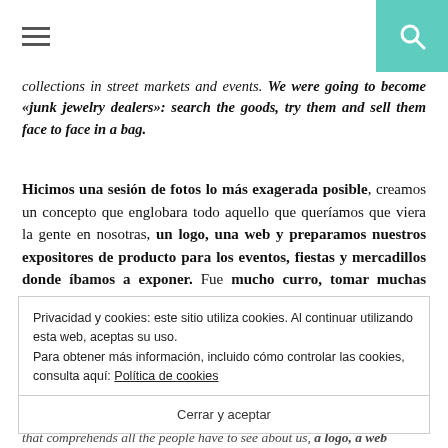[Hamburger menu icon] [Search icon]
collections in street markets and events. We were going to become «junk jewelry dealers»: search the goods, try them and sell them face to face in a bag.
Hicimos una sesión de fotos lo más exagerada posible, creamos un concepto que englobara todo aquello que queríamos que viera la gente en nosotras, un logo, una web y preparamos nuestros expositores de producto para los eventos, fiestas y mercadillos donde íbamos a exponer. Fue mucho curro, tomar muchas decisiones ¡y muchas
Privacidad y cookies: este sitio utiliza cookies. Al continuar utilizando esta web, aceptas su uso.
Para obtener más información, incluido cómo controlar las cookies, consulta aquí: Política de cookies
Cerrar y aceptar
that comprehends all the people have to see about us, a logo, a web